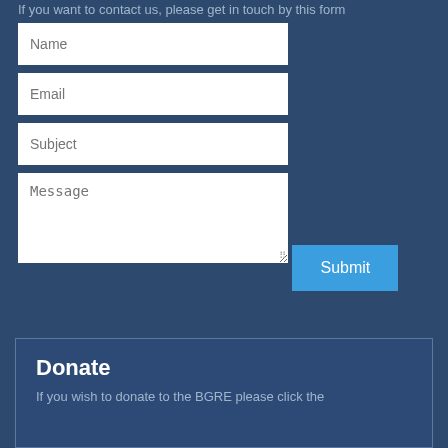If you want to contact us, please get in touch by this form
[Figure (screenshot): A web contact form with fields for Name, Email, Subject, Message, and a Submit button on a dark blue background]
Donate
If you wish to donate to the BGRE please click the